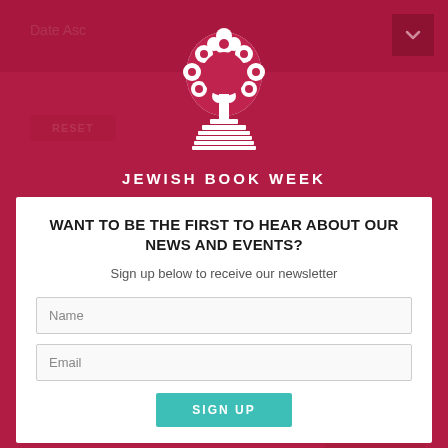Date Asc
[Figure (logo): Jewish Book Week logo — white tree growing from a stack of books]
JEWISH BOOK WEEK
WANT TO BE THE FIRST TO HEAR ABOUT OUR NEWS AND EVENTS?
Sign up below to receive our newsletter
Name
Email
SIGN UP
MEET THE AUTHOR: HILLEL HALKIN: MELISANDE! WHAT ARE DREAMS?
19/02/2019 – 2:45 pm
Melisande! What Are Dreams? is a first novel by the acclaimed American-Israeli author and translator Hillel Halkin, known for his essays and books of non-fic...